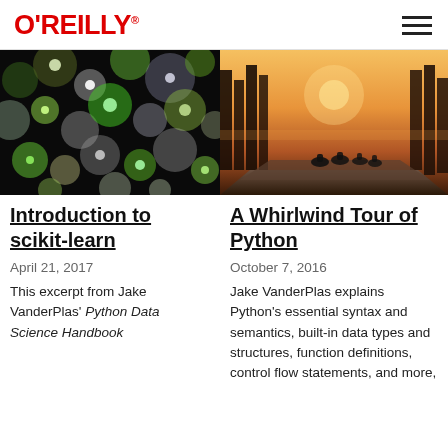O'REILLY
[Figure (photo): Bokeh photograph with green, white, and yellow circular light orbs on dark background]
[Figure (photo): Cyclists racing on a road bathed in golden sunset light with trees lining the road]
Introduction to scikit-learn
A Whirlwind Tour of Python
April 21, 2017
October 7, 2016
This excerpt from Jake VanderPlas' Python Data Science Handbook
Jake VanderPlas explains Python's essential syntax and semantics, built-in data types and structures, function definitions, control flow statements, and more,